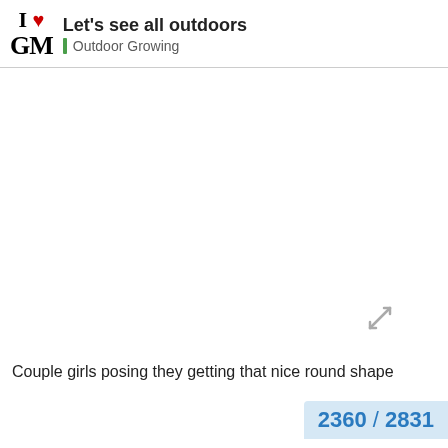Let's see all outdoors | Outdoor Growing
[Figure (photo): Large mostly white/blank image area representing a photo placeholder with an expand/resize arrow icon in the lower right area]
Couple girls posing they getting that nice round shape
2360 / 2831